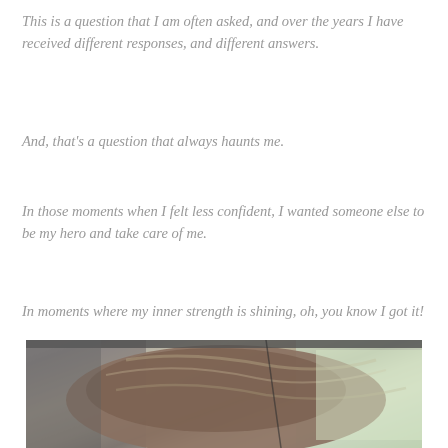This is a question that I am often asked, and over the years I have received different responses, and different answers.
And, that's a question that always haunts me.
In those moments when I felt less confident, I wanted someone else to be my hero and take care of me.
In moments where my inner strength is shining, oh, you know I got it!
[Figure (photo): A person photographed from inside a car, showing the back of their head with brown hair, with car interior and trees visible through the window.]